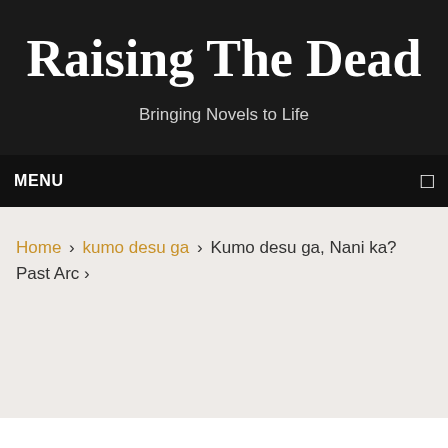Raising The Dead
Bringing Novels to Life
MENU
Home › kumo desu ga › Kumo desu ga, Nani ka? Past Arc ›